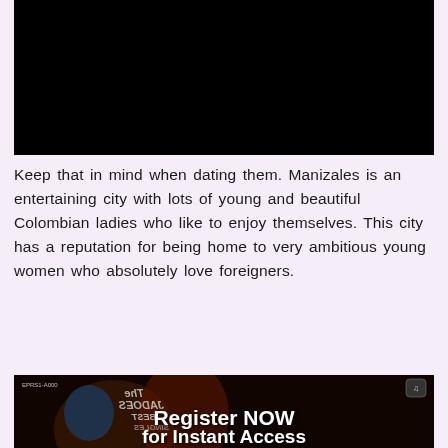[Figure (photo): Black rectangle representing a video/image placeholder at the top of the page]
Keep that in mind when dating them. Manizales is an entertaining city with lots of young and beautiful Colombian ladies who like to enjoy themselves. This city has a reputation for being home to very ambitious young women who absolutely love foreigners.
[Figure (photo): Dark image of what appears to be a music album cover (The Jadoes Best Singles, mirrored/reversed text) with overlay text 'Register NOW for Instant Access']